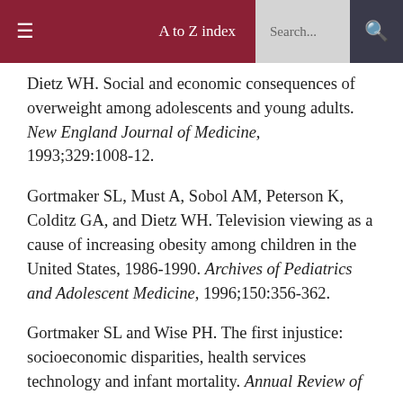≡  A to Z index  Search...  🔍
Dietz WH. Social and economic consequences of overweight among adolescents and young adults. New England Journal of Medicine, 1993;329:1008-12.
Gortmaker SL, Must A, Sobol AM, Peterson K, Colditz GA, and Dietz WH. Television viewing as a cause of increasing obesity among children in the United States, 1986-1990. Archives of Pediatrics and Adolescent Medicine, 1996;150:356-362.
Gortmaker SL and Wise PH. The first injustice: socioeconomic disparities, health services technology and infant mortality. Annual Review of